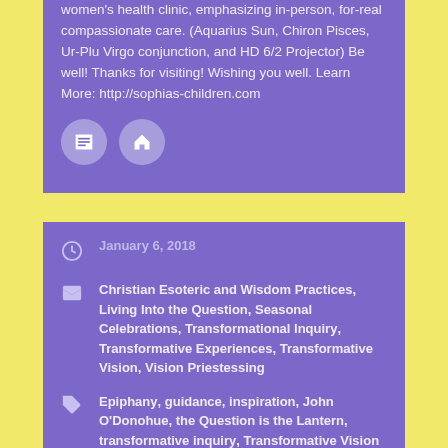women's health clinic, emphasizing in-person, for-real compassionate care. (Aquarius Sun, Chiron Pisces, Ur-Plu Virgo conjunction, and HD 6/2 Projector) Be well! Thanks for visiting! Wishing you well. Learn More: http://sophias-children.com
January 6, 2018
Christian Esoteric and Wisdom Practices, Living Into the Question, Seasonal Celebrations, Transformational Inquiry, Transformative Experiences, Transformative Vision, Vision Priestessing
Epiphany, guidance, inspiration, John O'Donohue, the Question is the Lantern, transformative inquiry, Transformative Vision
Previous post